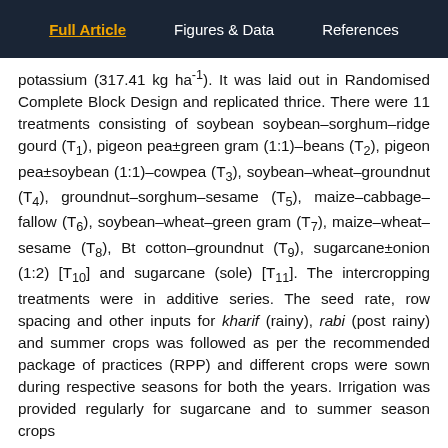Full Article | Figures & Data | References
potassium (317.41 kg ha⁻¹). It was laid out in Randomised Complete Block Design and replicated thrice. There were 11 treatments consisting of soybean soybean–sorghum–ridge gourd (T1), pigeon pea±green gram (1:1)–beans (T2), pigeon pea±soybean (1:1)–cowpea (T3), soybean–wheat–groundnut (T4), groundnut–sorghum–sesame (T5), maize–cabbage–fallow (T6), soybean–wheat–green gram (T7), maize–wheat–sesame (T8), Bt cotton–groundnut (T9), sugarcane±onion (1:2) [T10] and sugarcane (sole) [T11]. The intercropping treatments were in additive series. The seed rate, row spacing and other inputs for kharif (rainy), rabi (post rainy) and summer crops was followed as per the recommended package of practices (RPP) and different crops were sown during respective seasons for both the years. Irrigation was provided regularly for sugarcane and to summer season crops